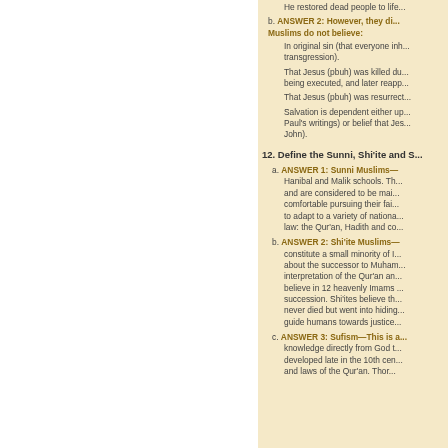He restored dead people to life...
ANSWER 2: However, they di... Muslims do not believe:
In original sin (that everyone inh... transgression).
That Jesus (pbuh) was killed du... being executed, and later reapp...
That Jesus (pbuh) was resurrect...
Salvation is dependent either up... Paul's writings) or belief that Jes... John).
12. Define the Sunni, Shi'ite and S...
ANSWER 1: Sunni Muslims— Hanibal and Malik schools. Th... and are considered to be mai... comfortable pursuing their fai... to adapt to a variety of nationa... law: the Qur'an, Hadith and co...
ANSWER 2: Shi'ite Muslims— constitute a small minority of I... about the successor to Muham... interpretation of the Qur'an an... believe in 12 heavenly Imams ... succession. Shi'ites believe th... never died but went into hiding... guide humans towards justice...
ANSWER 3: Sufism—This is a... knowledge directly from God t... developed late in the 10th cen... and laws of the Qur'an. Thor...